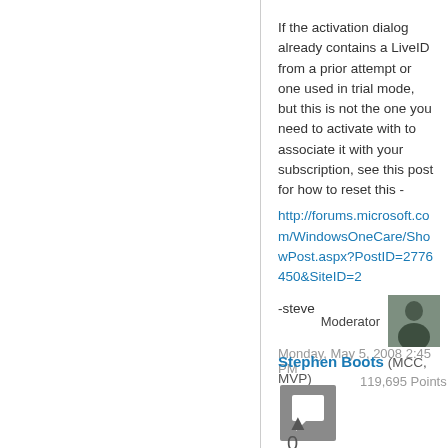If the activation dialog already contains a LiveID from a prior attempt or one used in trial mode, but this is not the one you need to activate with to associate it with your subscription, see this post for how to reset this - http://forums.microsoft.com/WindowsOneCare/ShowPost.aspx?PostID=2776450&SiteID=2
-steve
Monday, May 5, 2008 2:45 PM
Moderator
[Figure (photo): Moderator avatar photo showing a person standing outdoors]
Stephen Boots (MCC, MVP)
119,695 Points
[Figure (illustration): Grey square icon with a speech/flag symbol in white]
▲
0